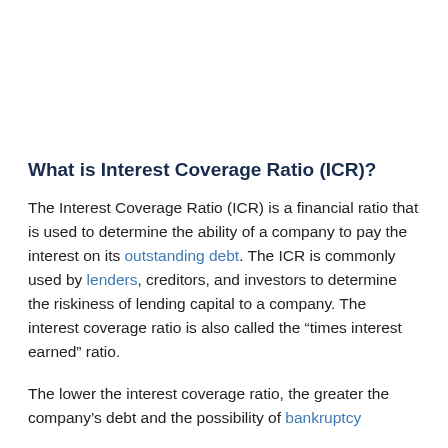What is Interest Coverage Ratio (ICR)?
The Interest Coverage Ratio (ICR) is a financial ratio that is used to determine the ability of a company to pay the interest on its outstanding debt. The ICR is commonly used by lenders, creditors, and investors to determine the riskiness of lending capital to a company. The interest coverage ratio is also called the “times interest earned” ratio.
The lower the interest coverage ratio, the greater the company’s debt and the possibility of bankruptcy...